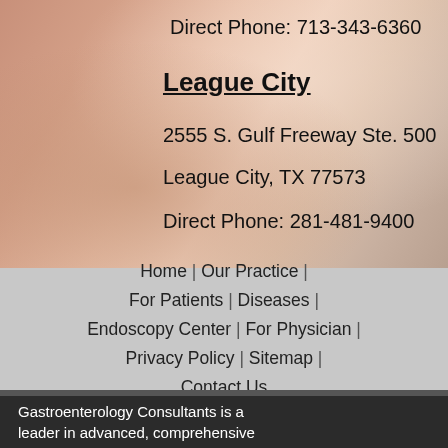[Figure (photo): Close-up photo of a person's hand holding or using a computer mouse, wearing a white sleeve, with a cable visible in the background.]
Direct Phone: 713-343-6360
League City
2555 S. Gulf Freeway Ste. 500
League City, TX 77573
Direct Phone: 281-481-9400
Home  |  Our Practice  |  For Patients  |  Diseases  |  Endoscopy Center  |  For Physician  |  Privacy Policy  |  Sitemap  |  Contact Us
Gastroenterology Consultants is a leader in advanced, comprehensive